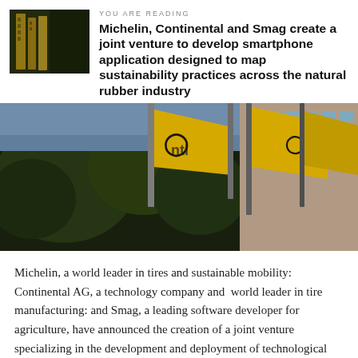YOU ARE READING
Michelin, Continental and Smag create a joint venture to develop smartphone application designed to map sustainability practices across the natural rubber industry
[Figure (photo): Photograph showing yellow Continental flags flying in front of a building and trees, displayed as two side-by-side panels.]
Michelin, a world leader in tires and sustainable mobility: Continental AG, a technology company and world leader in tire manufacturing: and Smag, a leading software developer for agriculture, have announced the creation of a joint venture specializing in the development and deployment of technological solution for mapping sustainability practices in the supply chain of natural rubber: Rubberway®.